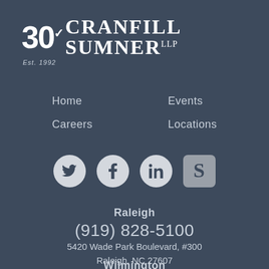[Figure (logo): Cranfill Sumner LLP 30th anniversary logo with checkmark icon, 'Est. 1992' text below]
Home
Events
Careers
Locations
[Figure (other): Social media icons: Twitter (bird), Facebook (f), LinkedIn (in), and a Sumner stylized S square icon]
Raleigh
(919) 828-5100
5420 Wade Park Boulevard, #300
Raleigh, NC 27607
Wilmington
(910) 777-6000